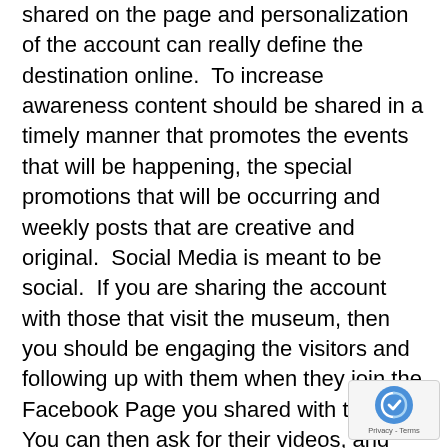shared on the page and personalization of the account can really define the destination online.  To increase awareness content should be shared in a timely manner that promotes the events that will be happening, the special promotions that will be occurring and weekly posts that are creative and original.  Social Media is meant to be social.  If you are sharing the account with those that visit the museum, then you should be engaging the visitors and following up with them when they join the Facebook Page you shared with them.  You can then ask for their videos, and photos and for reviews for your Google Profile, Facebook Review, Website, etc. This social aspect really works better when local businesses are featured in conjunction with your destination and contests held online and in regular forms of media.
[Figure (other): reCAPTCHA badge with blue icon and Privacy - Terms text]